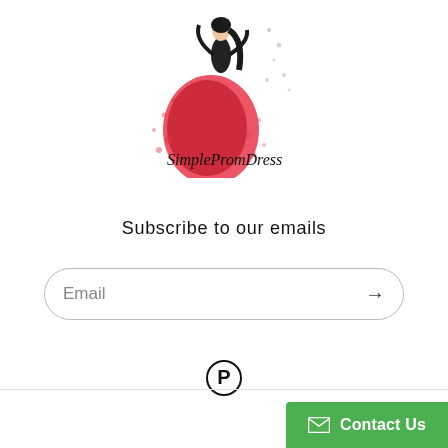[Figure (logo): SimplePromDress logo: illustrated figure wearing a red ballgown with black top, speckled artistic effect, with cursive text 'SimplePromDress' below]
Subscribe to our emails
Email →
[Figure (logo): Pinterest circular logo icon]
Contact Us